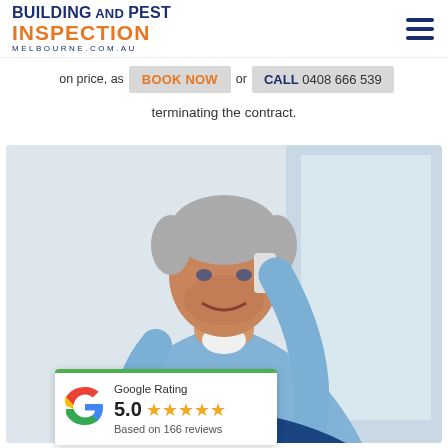[Figure (logo): Building and Pest Inspection Melbourne.com.au logo with blue and orange text]
on price, as  BOOK NOW  or  CALL 0408 666 539
terminating the contract.
[Figure (photo): Middle-aged man smiling while talking on a mobile phone, wearing a blue checked shirt, sitting against a white wall]
Google Rating
5.0 ★★★★★
Based on 166 reviews